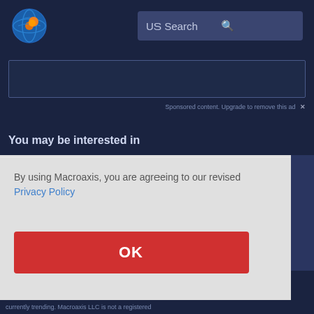[Figure (logo): Macroaxis globe logo with orange and blue colors]
US Search
[Figure (screenshot): Sponsored content ad placeholder box with border]
Sponsored content. Upgrade to remove this ad ×
You may be interested in
By using Macroaxis, you are agreeing to our revised Privacy Policy
OK
0.91 %
what is
currently trending. Macroaxis LLC is not a registered